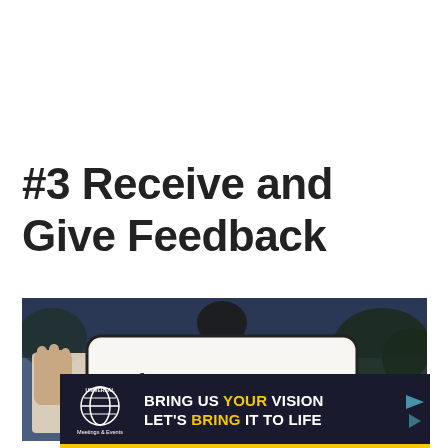#3 Receive and Give Feedback
[Figure (photo): Person holding up a whiteboard with the text 'What are' written in handwriting, against an outdoor background with trees and sky.]
[Figure (infographic): Advertisement banner for Universal Orlando Resort Meetings & Events: 'BRING US YOUR VISION LET'S BRING IT TO LIFE']